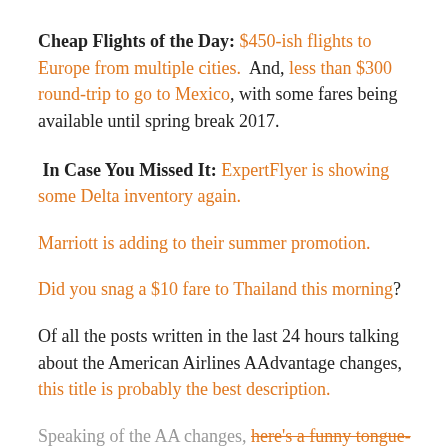Cheap Flights of the Day: $450-ish flights to Europe from multiple cities.  And, less than $300 round-trip to go to Mexico, with some fares being available until spring break 2017.
In Case You Missed It: ExpertFlyer is showing some Delta inventory again.
Marriott is adding to their summer promotion.
Did you snag a $10 fare to Thailand this morning?
Of all the posts written in the last 24 hours talking about the American Airlines AAdvantage changes, this title is probably the best description.
Speaking of the AA changes, here's a funny tongue-in-cheek solution.